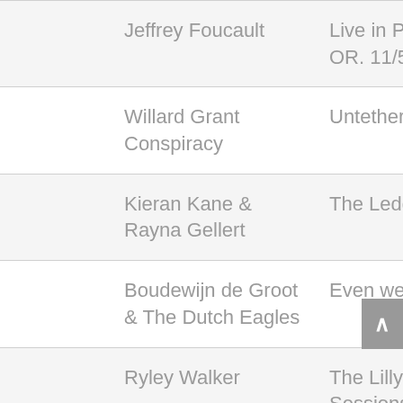|  | Artist | Album |
| --- | --- | --- |
|  | Jeffrey Foucault | Live in Portland OR. 11/5/15 |
|  | Willard Grant Conspiracy | Untethered |
|  | Kieran Kane & Rayna Gellert | The Ledges |
|  | Boudewijn de Groot & The Dutch Eagles | Even weg |
|  | Ryley Walker | The Lillywhite Sessions |